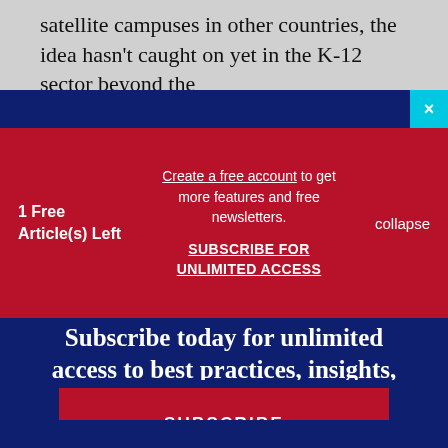satellite campuses in other countries, the idea hasn't caught on yet in the K-12 sector beyond the
1 Free Article(s) Left
Create a free account to get more features and free newsletters.
SUBSCRIBE FOR UNLIMITED ACCESS
collapse
Subscribe today for unlimited access to best practices, insights, and solutions.
SUBSCRIBE